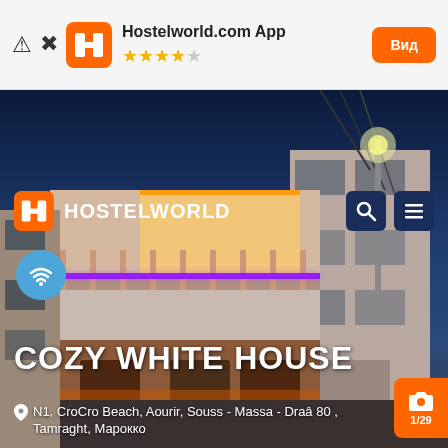[Figure (screenshot): Hostelworld.com app banner with orange H logo, 4.5 star rating, and 'Вид' button]
[Figure (photo): Nighttime photo of Cozy White House hostel building with colorful LED lighting on balconies, blue/purple and orange lights, blue sky background. Hostelworld navigation bar overlay at top with logo and search/menu icons. WiFi badge, property title 'COZY WHITE HOUSE', address, and camera counter badge '1/29' overlaid on photo.]